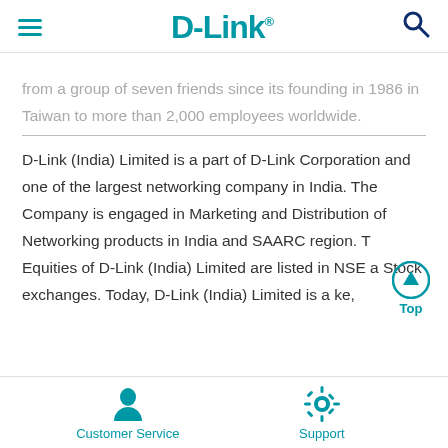D-Link
from a group of seven friends since its founding in 1986 in Taiwan to more than 2,000 employees worldwide.
D-Link (India) Limited is a part of D-Link Corporation and one of the largest networking company in India. The Company is engaged in Marketing and Distribution of Networking products in India and SAARC region. T Equities of D-Link (India) Limited are listed in NSE a Stock exchanges. Today, D-Link (India) Limited is a ke,
Customer Service   Support